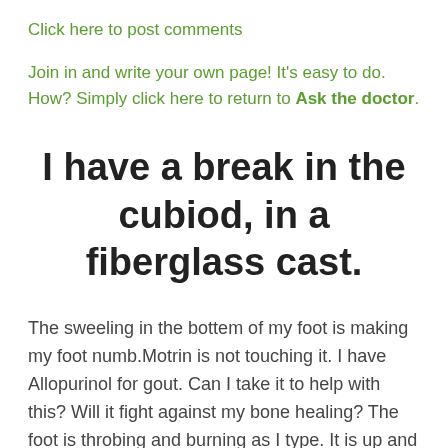Click here to post comments
Join in and write your own page! It's easy to do. How? Simply click here to return to Ask the doctor.
I have a break in the cubiod, in a fiberglass cast.
The sweeling in the bottem of my foot is making my foot numb.Motrin is not touching it. I have Allopurinol for gout. Can I take it to help with this? Will it fight against my bone healing? The foot is throbing and burning as I type. It is up and